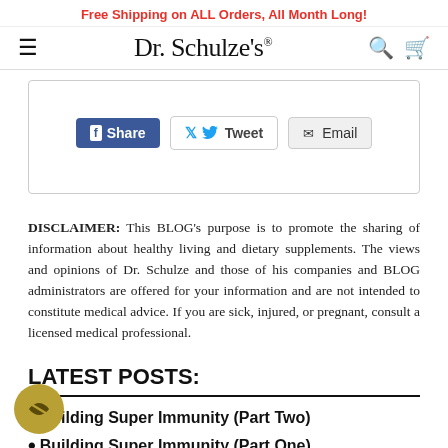Free Shipping on ALL Orders, All Month Long!
Dr. Schulze's
[Figure (infographic): Social share buttons: Facebook Share, Twitter Tweet, Email]
DISCLAIMER: This BLOG's purpose is to promote the sharing of information about healthy living and dietary supplements. The views and opinions of Dr. Schulze and those of his companies and BLOG administrators are offered for your information and are not intended to constitute medical advice. If you are sick, injured, or pregnant, consult a licensed medical professional.
LATEST POSTS:
Building Super Immunity (Part Two)
Building Super Immunity (Part One)